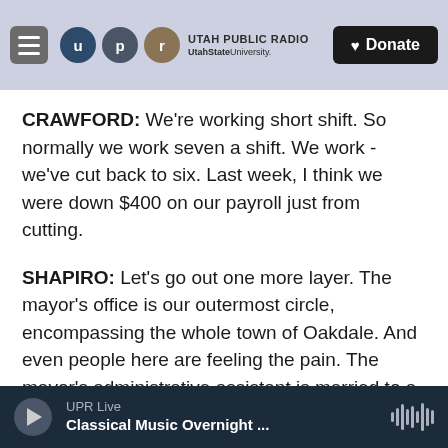Utah Public Radio / UtahStateUniversity. | Donate
CRAWFORD: We're working short shift. So normally we work seven a shift. We work - we've cut back to six. Last week, I think we were down $400 on our payroll just from cutting.
SHAPIRO: Let's go out one more layer. The mayor's office is our outermost circle, encompassing the whole town of Oakdale. And even people here are feeling the pain. The mayor's administrative assistant is married to a prison employee who's working without pay. The mayor's own wife is one of the government workers not getting a salary
UPR Live | Classical Music Overnight ...